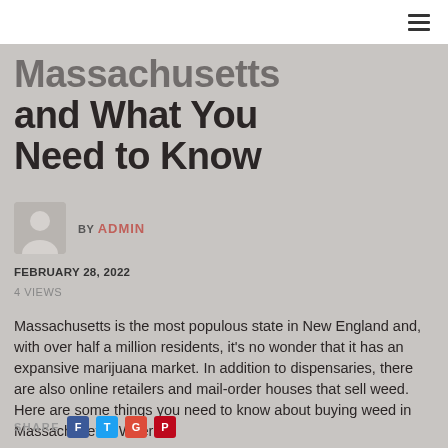≡
Massachusetts and What You Need to Know
BY ADMIN
FEBRUARY 28, 2022
4 VIEWS
Massachusetts is the most populous state in New England and, with over half a million residents, it's no wonder that it has an expansive marijuana market. In addition to dispensaries, there are also online retailers and mail-order houses that sell weed. Here are some things you need to know about buying weed in Massachusetts: Where...
SHARE